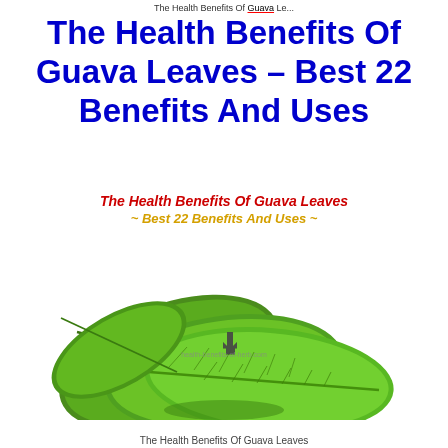The Health Benefits Of Guava Leaves
The Health Benefits Of Guava Leaves – Best 22 Benefits And Uses
The Health Benefits Of Guava Leaves
~ Best 22 Benefits And Uses ~
[Figure (photo): Stack of large green guava leaves with a cursor/click icon overlay and watermark text 'health-benefits-of-herb.com']
The Health Benefits Of Guava Leaves